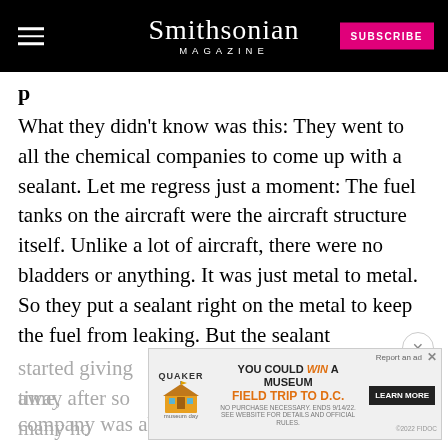Smithsonian MAGAZINE
What they didn't know was this: They went to all the chemical companies to come up with a sealant. Let me regress just a moment: The fuel tanks on the aircraft were the aircraft structure itself. Unlike a lot of aircraft, there were no bladders or anything. It was just metal to metal.  So they put a sealant right on the metal to keep the fuel from leaking. But the sealant started giving away after so many hours, not time, no chemical company was able to come up with a sealant